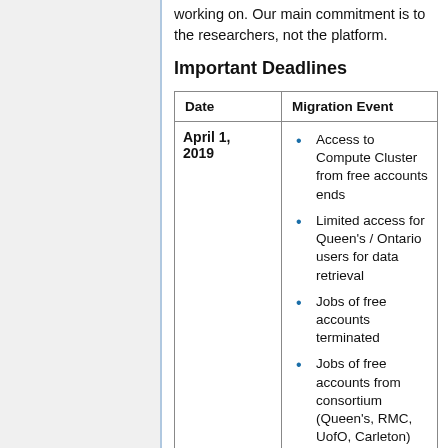working on. Our main commitment is to the researchers, not the platform.
Important Deadlines
| Date | Migration Event |
| --- | --- |
| April 1, 2019 | • Access to Compute Cluster from free accounts ends
• Limited access for Queen's / Ontario users for data retrieval
• Jobs of free accounts terminated
• Jobs of free accounts from consortium (Queen's, RMC, UofO, Carleton) |